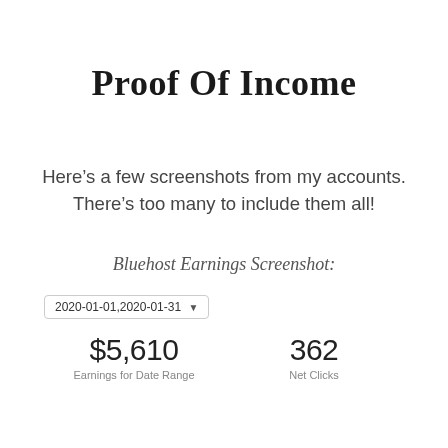Proof Of Income
Here’s a few screenshots from my accounts. There’s too many to include them all!
Bluehost Earnings Screenshot:
[Figure (screenshot): Bluehost earnings dashboard showing date range 2020-01-01,2020-01-31, Earnings for Date Range $5,610, Net Clicks 362]